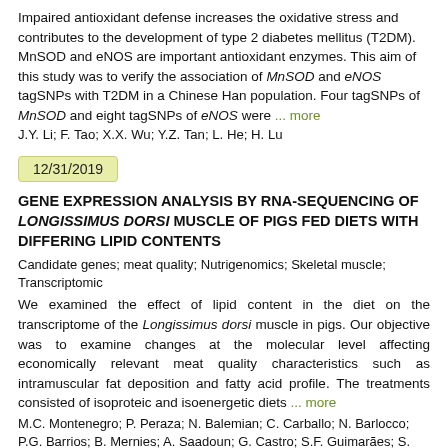Impaired antioxidant defense increases the oxidative stress and contributes to the development of type 2 diabetes mellitus (T2DM). MnSOD and eNOS are important antioxidant enzymes. This aim of this study was to verify the association of MnSOD and eNOS tagSNPs with T2DM in a Chinese Han population. Four tagSNPs of MnSOD and eight tagSNPs of eNOS were ... more
J.Y. Li; F. Tao; X.X. Wu; Y.Z. Tan; L. He; H. Lu
12/31/2019
GENE EXPRESSION ANALYSIS BY RNA-SEQUENCING OF LONGISSIMUS DORSI MUSCLE OF PIGS FED DIETS WITH DIFFERING LIPID CONTENTS
Candidate genes; meat quality; Nutrigenomics; Skeletal muscle; Transcriptomic
We examined the effect of lipid content in the diet on the transcriptome of the Longissimus dorsi muscle in pigs. Our objective was to examine changes at the molecular level affecting economically relevant meat quality characteristics such as intramuscular fat deposition and fatty acid profile. The treatments consisted of isoproteic and isoenergetic diets ... more
M.C. Montenegro; P. Peraza; N. Balemian; C. Carballo; N. Barlocco; P.G. Barrios; B. Mernies; A. Saadoun; G. Castro; S.F. Guimarães; S.